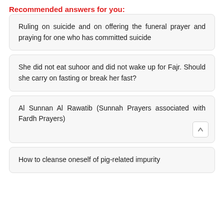Recommended answers for you:
Ruling on suicide and on offering the funeral prayer and praying for one who has committed suicide
She did not eat suhoor and did not wake up for Fajr. Should she carry on fasting or break her fast?
Al Sunnan Al Rawatib (Sunnah Prayers associated with Fardh Prayers)
How to cleanse oneself of pig-related impurity